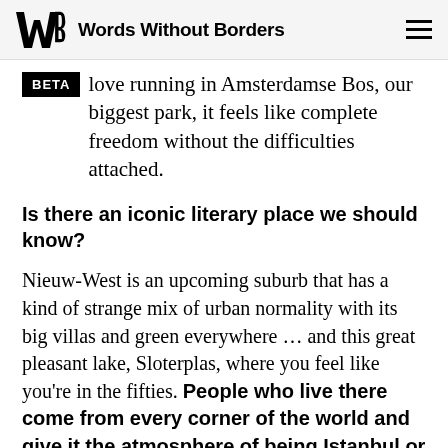Words Without Borders
love running in Amsterdamse Bos, our biggest park, it feels like complete freedom without the difficulties attached.
Is there an iconic literary place we should know?
Nieuw-West is an upcoming suburb that has a kind of strange mix of urban normality with its big villas and green everywhere … and this great pleasant lake, Sloterplas, where you feel like you're in the fifties. People who live there come from every corner of the world and give it the atmosphere of being Istanbul or Tangier or Paramaribo. It's one of the most exciting places